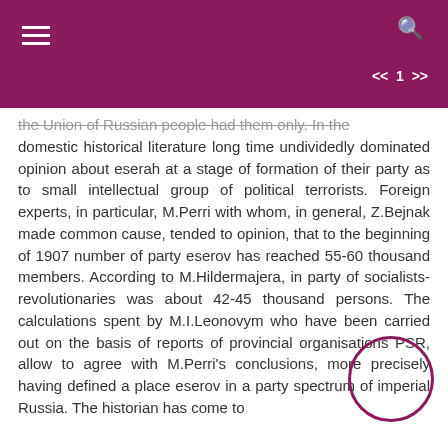the Union of Russian people had them only. In the domestic historical literature long time undividedly dominated opinion about eserah at a stage of formation of their party as to small intellectual group of political terrorists. Foreign experts, in particular, M.Perri with whom, in general, Z.Bejnak made common cause, tended to opinion, that to the beginning of 1907 number of party eserov has reached 55-60 thousand members. According to M.Hildermajera, in party of socialists-revolutionaries was about 42-45 thousand persons. The calculations spent by M.I.Leonovym who have been carried out on the basis of reports of provincial organisations PSR, allow to agree with M.Perri's conclusions, more precisely having defined a place eserov in a party spectrum of imperial Russia. The historian has come to